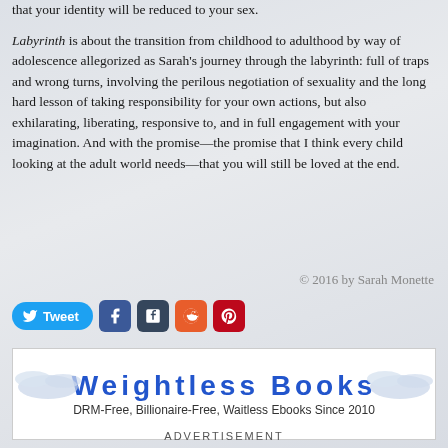Labyrinth is about the transition from childhood to adulthood by way of adolescence allegorized as Sarah's journey through the labyrinth: full of traps and wrong turns, involving the perilous negotiation of sexuality and the long hard lesson of taking responsibility for your own actions, but also exhilarating, liberating, responsive to, and in full engagement with your imagination. And with the promise—the promise that I think every child looking at the adult world needs—that you will still be loved at the end.
© 2016 by Sarah Monette
[Figure (other): Social sharing buttons: Tweet (Twitter), Facebook, Tumblr, Reddit, Pinterest]
[Figure (other): Advertisement banner for Weightless Books: DRM-Free, Billionaire-Free, Waitless Ebooks Since 2010]
ADVERTISEMENT